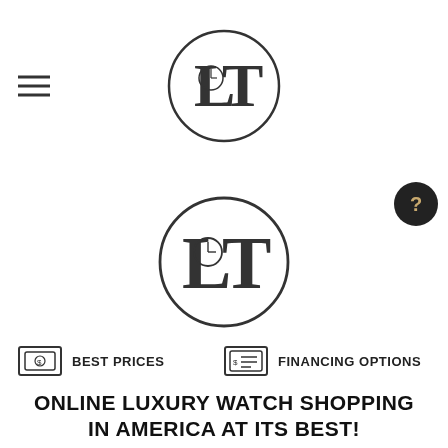LT logo with hamburger menu
[Figure (logo): Circular logo with stylized letters L and T with a clock face inside, used as main page logo in content area]
BEST PRICES
FINANCING OPTIONS
ONLINE LUXURY WATCH SHOPPING IN AMERICA AT ITS BEST!
It's no longer just the privilege of a American City to shop online